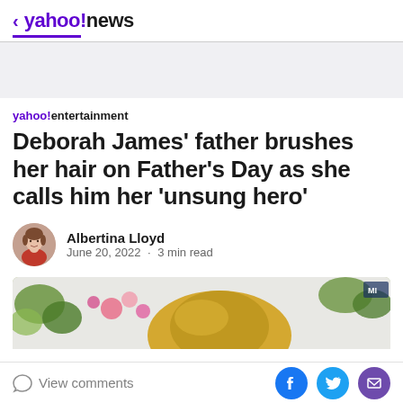< yahoo!news
yahoo!entertainment
Deborah James' father brushes her hair on Father's Day as she calls him her 'unsung hero'
Albertina Lloyd
June 20, 2022 · 3 min read
[Figure (photo): Article thumbnail photo showing flowers and a straw hat]
View comments